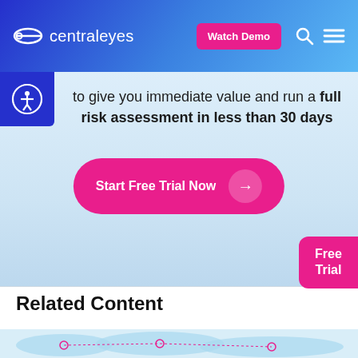centraleyes | Watch Demo
to give you immediate value and run a full risk assessment in less than 30 days
Start Free Trial Now →
Free Trial
Related Content
[Figure (map): World map with interconnected nodes showing cybersecurity threat network connections across continents, with pink dashed lines and warning icons at key locations.]